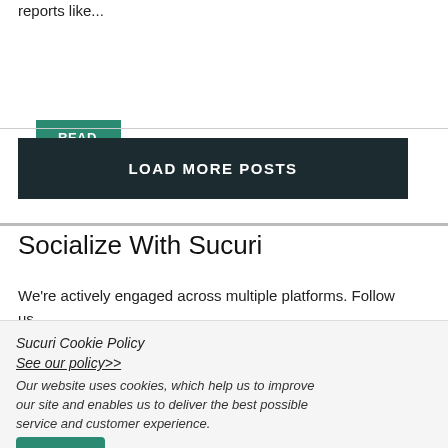reports like...
READ MORE
LOAD MORE POSTS
Socialize With Sucuri
We're actively engaged across multiple platforms. Follow us
Sucuri Cookie Policy
See our policy>>
Our website uses cookies, which help us to improve our site and enables us to deliver the best possible service and customer experience.
ACCEPT
DECLINE
MANAGE OPTIONS